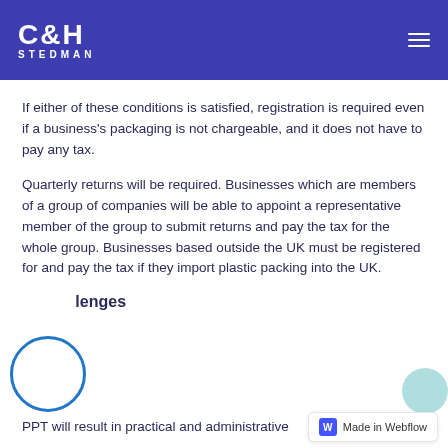C&H STEDMAN
If either of these conditions is satisfied, registration is required even if a business's packaging is not chargeable, and it does not have to pay any tax.
Quarterly returns will be required. Businesses which are members of a group of companies will be able to appoint a representative member of the group to submit returns and pay the tax for the whole group. Businesses based outside the UK must be registered for and pay the tax if they import plastic packing into the UK.
...lenges
PPT will result in practical and administrative